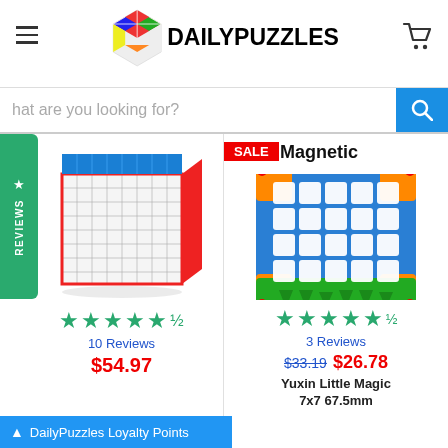[Figure (logo): DailyPuzzles logo with Rubik's cube graphic and bold text DAILYPUZZLES]
What are you looking for?
★ REVIEWS
[Figure (photo): Colorful 8x8 Rubik's cube stickerless speedcube product photo]
10 Reviews
$54.97
[Figure (photo): Yuxin Little Magic 7x7 magnetic puzzle board colorful orange/blue/green design with SALE badge]
3 Reviews
$33.19  $26.78
Yuxin Little Magic 7x7 67.5mm
DailyPuzzles Loyalty Points